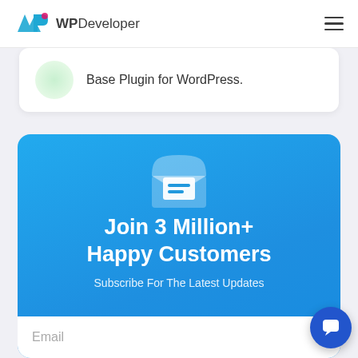WPDeveloper
Base Plugin for WordPress.
Join 3 Million+ Happy Customers
Subscribe For The Latest Updates
Email